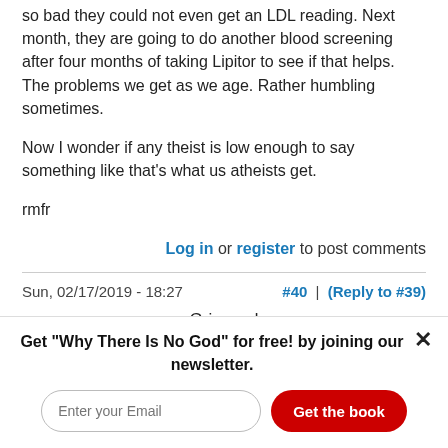so bad they could not even get an LDL reading. Next month, they are going to do another blood screening after four months of taking Lipitor to see if that helps. The problems we get as we age. Rather humbling sometimes.

Now I wonder if any theist is low enough to say something like that's what us atheists get.

rmfr
Log in or register to post comments
Sun, 02/17/2019 - 18:27    #40 | (Reply to #39)
Grinseed
Get "Why There Is No God" for free! by joining our newsletter.